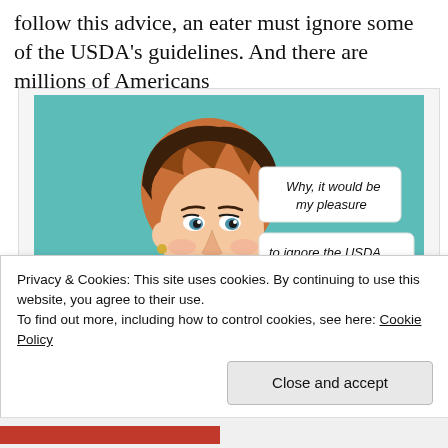follow this advice, an eater must ignore some of the USDA's guidelines. And there are millions of Americans
[Figure (illustration): Retro-style comic illustration of a woman talking on a telephone. Speech bubbles read: 'Why, it would be my pleasure to ignore the USDA...' Background is teal/turquoise.]
Privacy & Cookies: This site uses cookies. By continuing to use this website, you agree to their use.
To find out more, including how to control cookies, see here: Cookie Policy
Close and accept